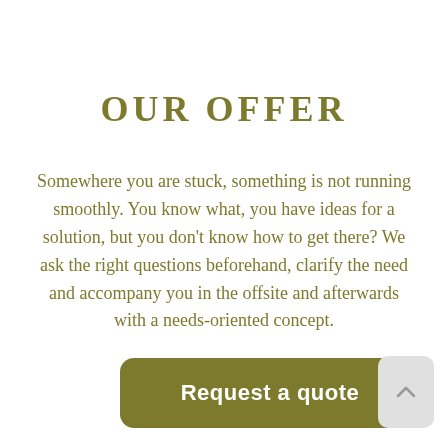OUR OFFER
Somewhere you are stuck, something is not running smoothly. You know what, you have ideas for a solution, but you don't know how to get there? We ask the right questions beforehand, clarify the need and accompany you in the offsite and afterwards with a needs-oriented concept.
Request a quote